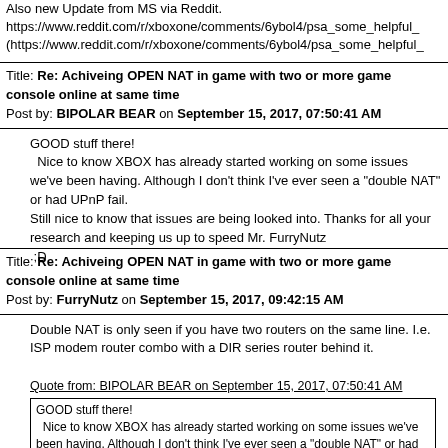Also new Update from MS via Reddit.
https://www.reddit.com/r/xboxone/comments/6ybol4/psa_some_helpful_
(https://www.reddit.com/r/xboxone/comments/6ybol4/psa_some_helpful_
Title: Re: Achiveing OPEN NAT in game with two or more game console online at same time
Post by: BIPOLAR BEAR on September 15, 2017, 07:50:41 AM
GOOD stuff there!
  Nice to know XBOX has already started working on some issues we've been having. Although I don't think I've ever seen a "double NAT" or had UPnP fail.
Still nice to know that issues are being looked into. Thanks for all your research and keeping us up to speed Mr. FurryNutz
 ;D
Title: Re: Achiveing OPEN NAT in game with two or more game console online at same time
Post by: FurryNutz on September 15, 2017, 09:42:15 AM
Double NAT is only seen if you have two routers on the same line. I.e. ISP modem router combo with a DIR series router behind it.
Quote from: BIPOLAR BEAR on September 15, 2017, 07:50:41 AM
GOOD stuff there!
  Nice to know XBOX has already started working on some issues we've been having. Although I don't think I've ever seen a "double NAT" or had UPnP fail.
Still nice to know that issues are being looked into. Thanks for all your research